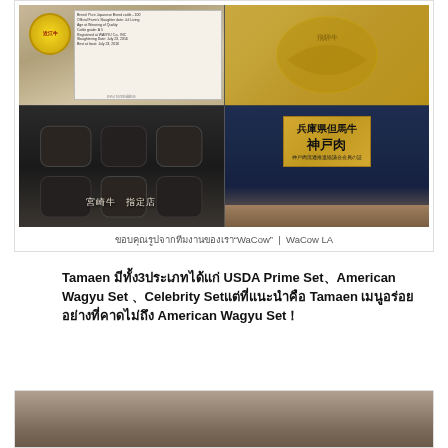[Figure (photo): Composite photo showing Japanese beef certifications: top-left shows a document with yellow circular logo and text card; top-right shows a golden decorative plaque; bottom-left shows black pottery/dishes with Japanese text reading 宮崎牛 指定店; bottom-right shows a dark blue display with gold plaque reading 兵庫県但馬牛 神戸肉 神戸肉流通推進協議会会員の証]
ขอบคุณรูปจากทีมงานของเรา"WaCow"  |  WaCow LA
Tamaen มีทั้ง3ประเภทได้แก่ USDA Prime Set、American Wagyu Set 、Celebrity Setแต่ที่แนะนำคือ Tamaen เมนูอร่อยอย่างที่คาดไม่ถึง American Wagyu Set！
[Figure (photo): Partial photo at bottom of page showing a dish, cut off]